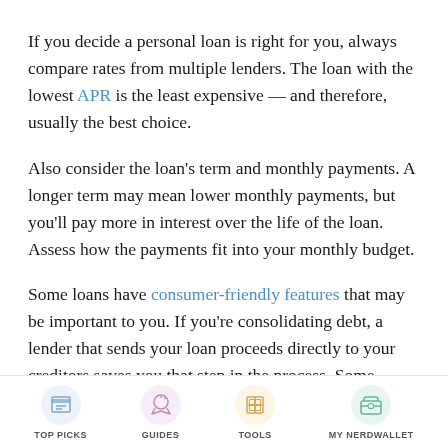If you decide a personal loan is right for you, always compare rates from multiple lenders. The loan with the lowest APR is the least expensive — and therefore, usually the best choice.
Also consider the loan's term and monthly payments. A longer term may mean lower monthly payments, but you'll pay more in interest over the life of the loan. Assess how the payments fit into your monthly budget.
Some loans have consumer-friendly features that may be important to you. If you're consolidating debt, a lender that sends your loan proceeds directly to your creditors saves you that step in the process. Some lenders offer flexible payment options that
TOP PICKS   GUIDES   TOOLS   MY NERDWALLET